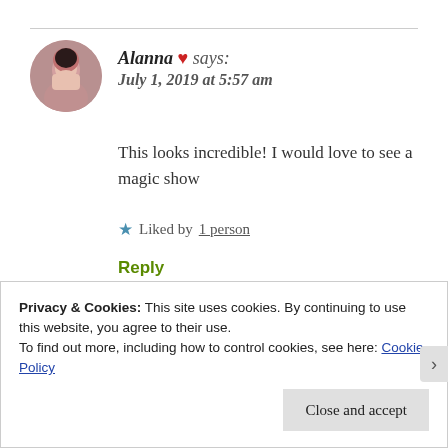Alanna ❤ says:
July 1, 2019 at 5:57 am
This looks incredible! I would love to see a magic show
★ Liked by 1 person
Reply
Privacy & Cookies: This site uses cookies. By continuing to use this website, you agree to their use.
To find out more, including how to control cookies, see here: Cookie Policy
Close and accept